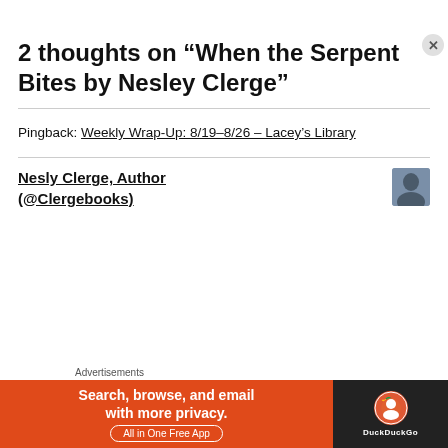2 thoughts on “When the Serpent Bites by Nesley Clerge”
Pingback: Weekly Wrap-Up: 8/19–8/26 – Lacey’s Library
Nesly Clerge, Author (@Clergebooks)
[Figure (photo): Small profile photo of a man in a suit]
[Figure (infographic): DuckDuckGo advertisement banner: Search, browse, and email with more privacy. All in One Free App. DuckDuckGo logo on dark background.]